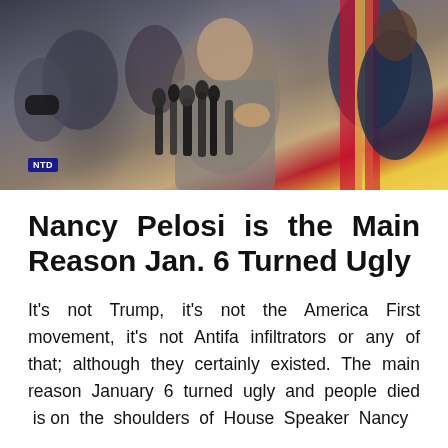[Figure (photo): Nancy Pelosi speaking at a press conference surrounded by microphones, with people and an American flag in the background. NTD logo visible at bottom left.]
Nancy Pelosi is the Main Reason Jan. 6 Turned Ugly
It's not Trump, it's not the America First movement, it's not Antifa infiltrators or any of that; although they certainly existed. The main reason January 6 turned ugly and people died is on the shoulders of House Speaker Nancy Pelosi